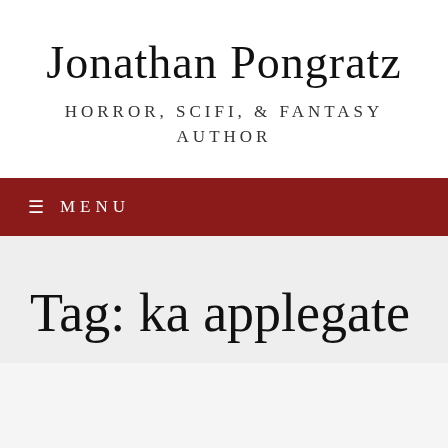Jonathan Pongratz
Horror, Scifi, & Fantasy Author
≡ MENU
Tag: ka applegate